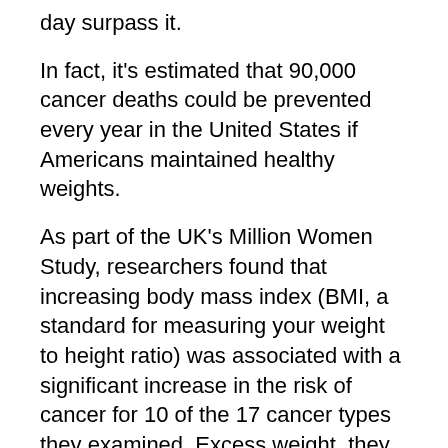day surpass it.
In fact, it's estimated that 90,000 cancer deaths could be prevented every year in the United States if Americans maintained healthy weights.
As part of the UK's Million Women Study, researchers found that increasing body mass index (BMI, a standard for measuring your weight to height ratio) was associated with a significant increase in the risk of cancer for 10 of the 17 cancer types they examined. Excess weight, they found, contributes to cancers of the:
Esophagus
Uterine lining